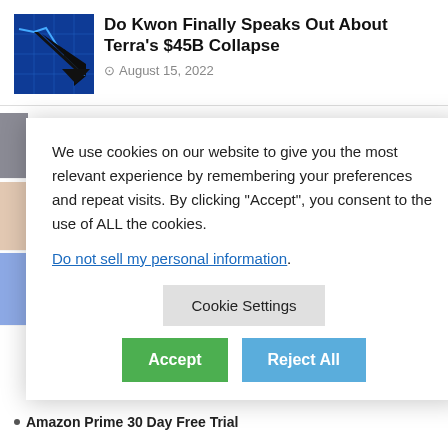[Figure (photo): Blue financial chart with downward arrow thumbnail image]
Do Kwon Finally Speaks Out About Terra's $45B Collapse
August 15, 2022
e Celsius' Assets,
BTC Heading to
SEC's Strategy ne Realm of
We use cookies on our website to give you the most relevant experience by remembering your preferences and repeat visits. By clicking "Accept", you consent to the use of ALL the cookies.
Do not sell my personal information.
Cookie Settings
Accept
Reject All
August 5, 2022
Amazon Prime 30 Day Free Trial